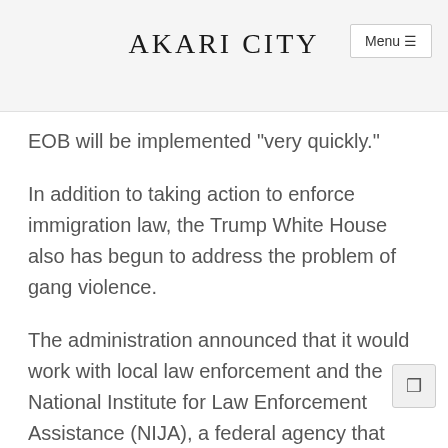AKARI CITY
EOB will be implemented "very quickly."
In addition to taking action to enforce immigration law, the Trump White House also has begun to address the problem of gang violence.
The administration announced that it would work with local law enforcement and the National Institute for Law Enforcement Assistance (NIJA), a federal agency that provides assistance to local law